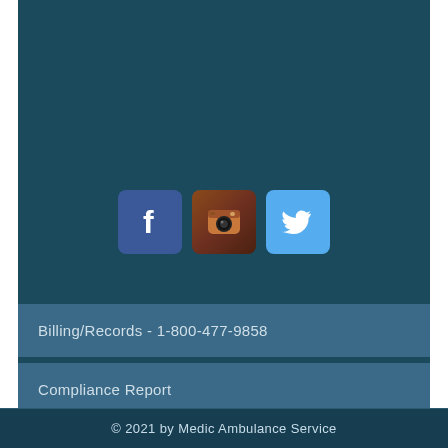[Figure (illustration): Three social media icons side by side: Facebook (blue square with white 'f'), Instagram (vintage camera icon), Twitter (light blue square with white bird)]
Billing/Records - 1-800-477-9858
Compliance Report
Online Bill Pay
© 2021 by Medic Ambulance Service